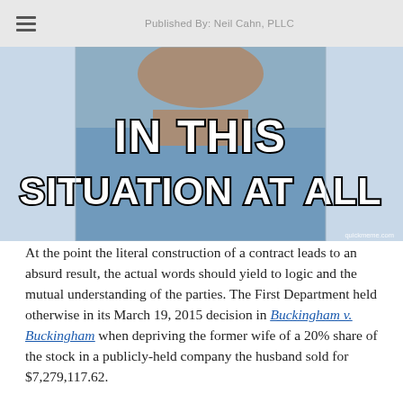Published By: Neil Cahn, PLLC
[Figure (photo): Internet meme showing a person in a blue shirt with bold Impact-font text reading 'IN THIS SITUATION AT ALL', watermarked quickmeme.com]
At the point the literal construction of a contract leads to an absurd result, the actual words should yield to logic and the mutual understanding of the parties. The First Department held otherwise in its March 19, 2015 decision in Buckingham v. Buckingham when depriving the former wife of a 20% share of the stock in a publicly-held company the husband sold for $7,279,117.62.
In this case, under a prenuptial agreement signed eight days before the parties' marriage, the wife was